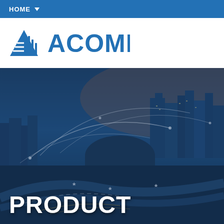HOME
[Figure (logo): ACOME company logo — blue mountain/arrow icon with horizontal lines, followed by blue text 'ACOME']
[Figure (photo): City skyline at night with blue overlay, highway interchange in foreground, network connectivity arc lines overlaid on the image]
PRODUCT